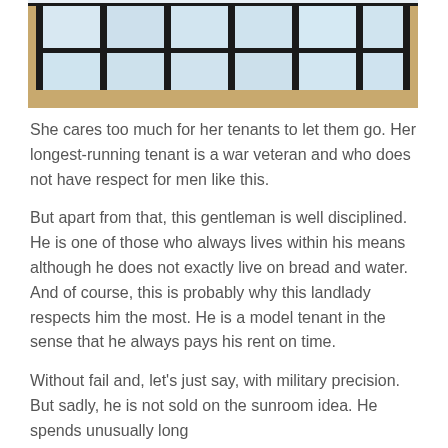[Figure (photo): A black-framed multi-pane window or skylight structure with snow or a light-colored surface visible through the glass panels, wooden framing visible at the sides.]
She cares too much for her tenants to let them go. Her longest-running tenant is a war veteran and who does not have respect for men like this.
But apart from that, this gentleman is well disciplined. He is one of those who always lives within his means although he does not exactly live on bread and water. And of course, this is probably why this landlady respects him the most. He is a model tenant in the sense that he always pays his rent on time.
Without fail and, let's just say, with military precision. But sadly, he is not sold on the sunroom idea. He spends unusually long